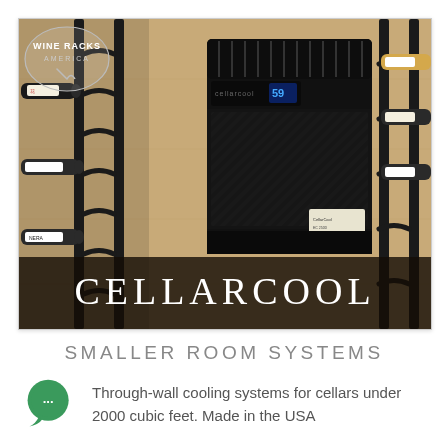[Figure (photo): Photo of a wine cellar with black metal wall-mounted wine racks holding multiple bottles, a CellarCool through-wall cooling unit mounted centrally, and the Wine Racks America logo in the top left corner. The brand name 'CELLARCOOL' is displayed in large white letters on a dark overlay at the bottom of the image.]
SMALLER ROOM SYSTEMS
Through-wall cooling systems for cellars under 2000 cubic feet. Made in the USA